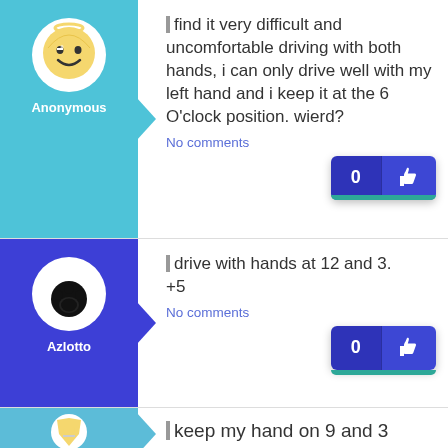I find it very difficult and uncomfortable driving with both hands, i can only drive well with my left hand and i keep it at the 6 O'clock position. wierd?
No comments
Anonymous
I drive with hands at 12 and 3. +5
No comments
Azlotto
I keep my hand on 9 and 3